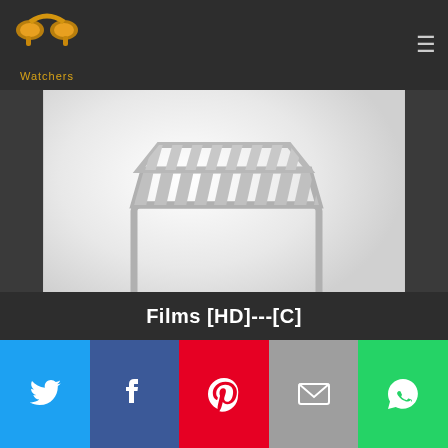PP Watchers logo with hamburger menu
[Figure (illustration): Movie clapperboard icon on light gradient background with reflection, grey tones]
Films [HD]---[C]
[Figure (infographic): Social share buttons bar: Twitter (blue), Facebook (dark blue), Pinterest (red), Email (grey), WhatsApp (green)]